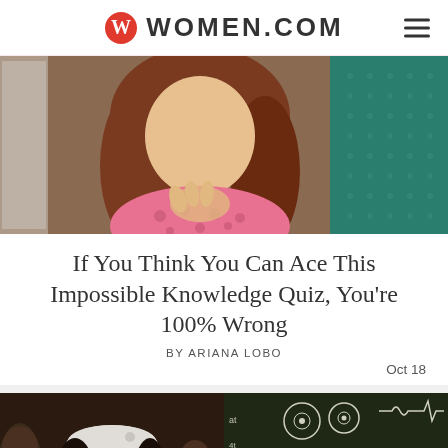WOMEN.COM
[Figure (photo): Woman with curly auburn hair in a pink floral shirt, gesturing with her hands near her chest]
If You Think You Can Ace This Impossible Knowledge Quiz, You're 100% Wrong
BY ARIANA LOBO
Oct 18
[Figure (photo): Young Black woman wearing a white beret, looking upward, with other people in background]
[Figure (photo): Blackboard covered with mathematical formulas and diagrams, with a red circle containing a white question mark overlaid]